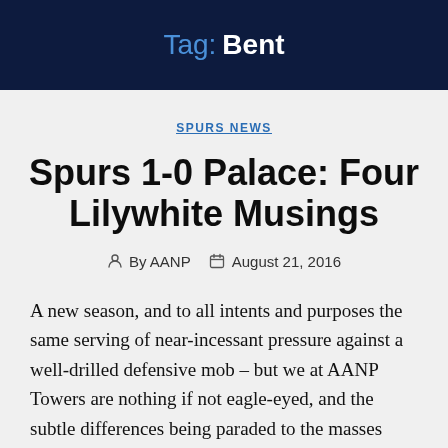Tag: Bent
SPURS NEWS
Spurs 1-0 Palace: Four Lilywhite Musings
By AANP  August 21, 2016
A new season, and to all intents and purposes the same serving of near-incessant pressure against a well-drilled defensive mob – but we at AANP Towers are nothing if not eagle-eyed, and the subtle differences being paraded to the masses yesterday did not escape detection.